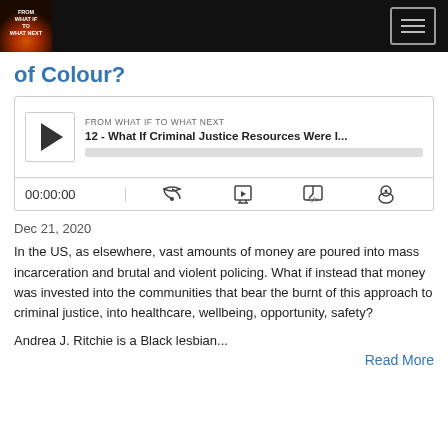FROM WHAT IF TO WHAT NEXT (podcast navigation header)
of Colour?
[Figure (other): Podcast audio player widget showing episode '12 - What If Criminal Justice Resources Were I...' from FROM WHAT IF TO WHAT NEXT, with play button, progress bar, timestamp 00:00:00, and control icons]
Dec 21, 2020
In the US, as elsewhere, vast amounts of money are poured into mass incarceration and brutal and violent policing. What if instead that money was invested into the communities that bear the burnt of this approach to criminal justice, into healthcare, wellbeing, opportunity, safety?
Andrea J. Ritchie is a Black lesbian...
Read More